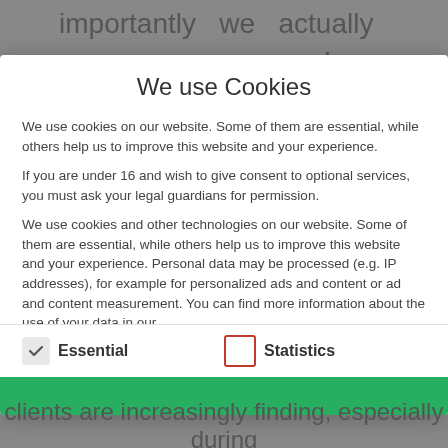importantly we actually accompany and measure the changes to be able to assess the
We use Cookies
We use cookies on our website. Some of them are essential, while others help us to improve this website and your experience.
If you are under 16 and wish to give consent to optional services, you must ask your legal guardians for permission.
We use cookies and other technologies on our website. Some of them are essential, while others help us to improve this website and your experience. Personal data may be processed (e.g. IP addresses), for example for personalized ads and content or ad and content measurement. You can find more information about the use of your data in our
Essential
Statistics
clients are increasingly finding, especially during